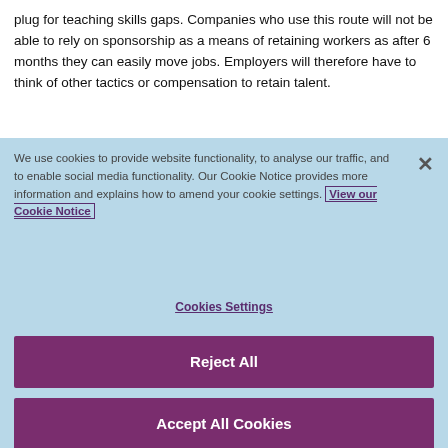plug for teaching skills gaps. Companies who use this route will not be able to rely on sponsorship as a means of retaining workers as after 6 months they can easily move jobs. Employers will therefore have to think of other tactics or compensation to retain talent.
We use cookies to provide website functionality, to analyse our traffic, and to enable social media functionality. Our Cookie Notice provides more information and explains how to amend your cookie settings. View our Cookie Notice
Cookies Settings
Reject All
Accept All Cookies